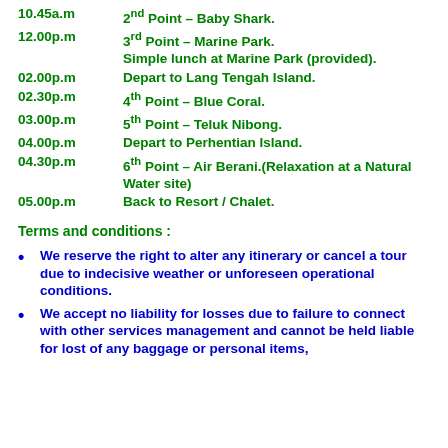10.45a.m  2nd Point – Baby Shark.
12.00p.m  3rd Point – Marine Park. Simple lunch at Marine Park (provided).
02.00p.m  Depart to Lang Tengah Island.
02.30p.m  4th Point – Blue Coral.
03.00p.m  5th Point – Teluk Nibong.
04.00p.m  Depart to Perhentian Island.
04.30p.m  6th Point – Air Berani.(Relaxation at a Natural Water site)
05.00p.m  Back to Resort / Chalet.
Terms and conditions :
We reserve the right to alter any itinerary or cancel a tour due to indecisive weather or unforeseen operational conditions.
We accept no liability for losses due to failure to connect with other services management and cannot be held liable for lost of any baggage or personal items,